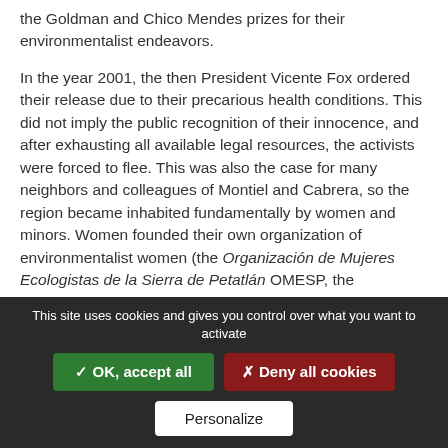the Goldman and Chico Mendes prizes for their environmentalist endeavors.
In the year 2001, the then President Vicente Fox ordered their release due to their precarious health conditions. This did not imply the public recognition of their innocence, and after exhausting all available legal resources, the activists were forced to flee. This was also the case for many neighbors and colleagues of Montiel and Cabrera, so the region became inhabited fundamentally by women and minors. Women founded their own organization of environmentalist women (the Organización de Mujeres Ecologistas de la Sierra de Petatlán OMESP, the Organization of Ecological Women of the Sierra
This site uses cookies and gives you control over what you want to activate